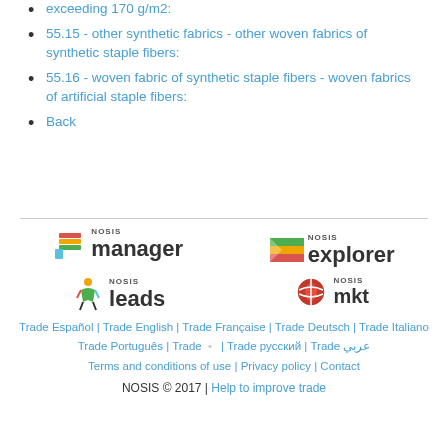exceeding 170 g/m2:
55.15 - other synthetic fabrics - other woven fabrics of synthetic staple fibers:
55.16 - woven fabric of synthetic staple fibers - woven fabrics of artificial staple fibers:
Back
[Figure (logo): NOSIS Manager logo with colorful layered pages icon]
[Figure (logo): NOSIS Explorer logo with colorful flag/stripe icon]
[Figure (logo): NOSIS Leads logo with colorful running figure icon]
[Figure (logo): NOSIS mkt logo with globe/circular icon]
Trade Español | Trade English | Trade Française | Trade Deutsch | Trade Italiano
Trade Português | Trade | Trade русский | Trade عربي
Terms and conditions of use | Privacy policy | Contact
NOSIS © 2017 | Help to improve trade